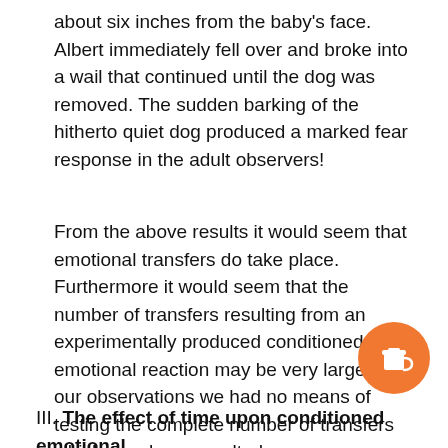about six inches from the baby's face. Albert immediately fell over and broke into a wail that continued until the dog was removed. The sudden barking of the hitherto quiet dog produced a marked fear response in the adult observers!
From the above results it would seem that emotional transfers do take place. Furthermore it would seem that the number of transfers resulting from an experimentally produced conditioned emotional reaction may be very large. In our observations we had no means of testing the complete number of transfers which may have resulted.
III. The effect of time upon conditioned emotional